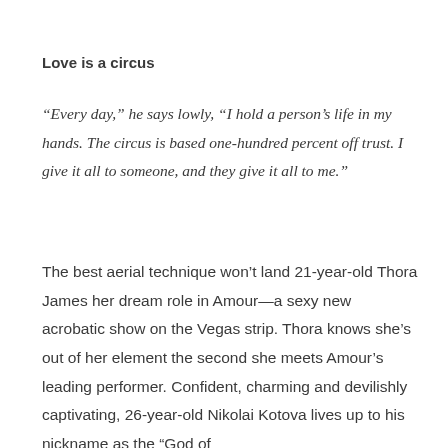Love is a circus
“Every day,” he says lowly, “I hold a person’s life in my hands. The circus is based one-hundred percent off trust. I give it all to someone, and they give it all to me.”
The best aerial technique won’t land 21-year-old Thora James her dream role in Amour—a sexy new acrobatic show on the Vegas strip. Thora knows she’s out of her element the second she meets Amour’s leading performer. Confident, charming and devilishly captivating, 26-year-old Nikolai Kotova lives up to his nickname as the “God of